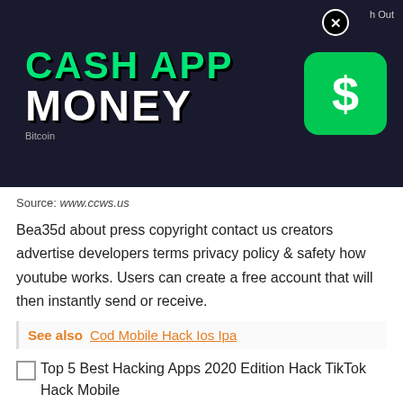[Figure (screenshot): Screenshot of a Cash App promotional image showing 'CASH APP MONEY' text in green and white on dark background with Cash App green dollar sign icon, and a close button overlay.]
Source: www.ccws.us
Bea35d about press copyright contact us creators advertise developers terms privacy policy & safety how youtube works. Users can create a free account that will then instantly send or receive.
See also  Cod Mobile Hack Ios Ipa
[Figure (screenshot): Broken image placeholder with alt text: Top 5 Best Hacking Apps 2020 Edition Hack TikTok Hack Mobile]
Source: www.w-h-i-p.us
3sec ago use the latest cash app hack 2020 to generate unlimited amounts of